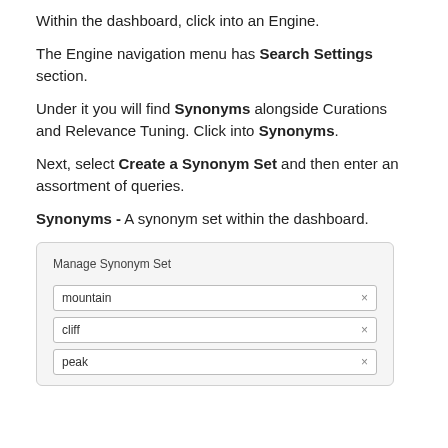Within the dashboard, click into an Engine.
The Engine navigation menu has Search Settings section.
Under it you will find Synonyms alongside Curations and Relevance Tuning. Click into Synonyms.
Next, select Create a Synonym Set and then enter an assortment of queries.
Synonyms - A synonym set within the dashboard.
[Figure (screenshot): Screenshot of Manage Synonym Set UI with input fields for mountain, cliff, and peak with X buttons]